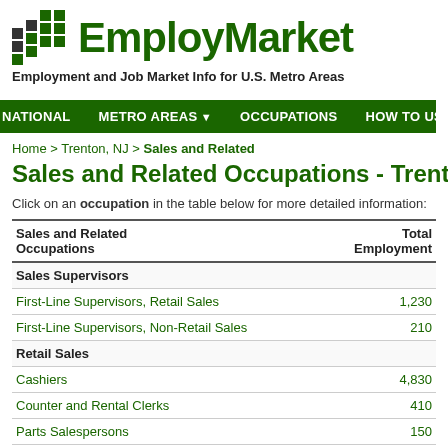[Figure (logo): EmployMarket logo with dark green grid icon and bold green EmployMarket text]
Employment and Job Market Info for U.S. Metro Areas
NATIONAL  METRO AREAS ▼  OCCUPATIONS  HOW TO USE
Home > Trenton, NJ > Sales and Related
Sales and Related Occupations - Trenton, New Jersey
Click on an occupation in the table below for more detailed information:
| Sales and Related Occupations | Total Employment |
| --- | --- |
| Sales Supervisors |  |
| First-Line Supervisors, Retail Sales | 1,230 |
| First-Line Supervisors, Non-Retail Sales | 210 |
| Retail Sales |  |
| Cashiers | 4,830 |
| Counter and Rental Clerks | 410 |
| Parts Salespersons | 150 |